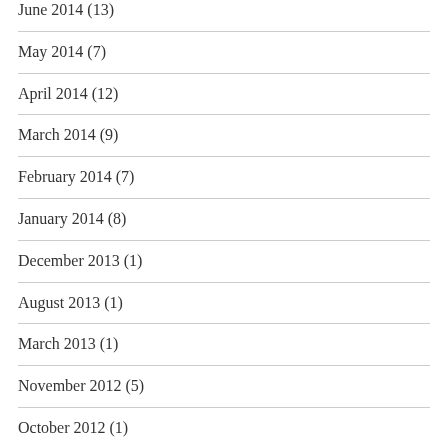June 2014 (13)
May 2014 (7)
April 2014 (12)
March 2014 (9)
February 2014 (7)
January 2014 (8)
December 2013 (1)
August 2013 (1)
March 2013 (1)
November 2012 (5)
October 2012 (1)
September 2012 (2)